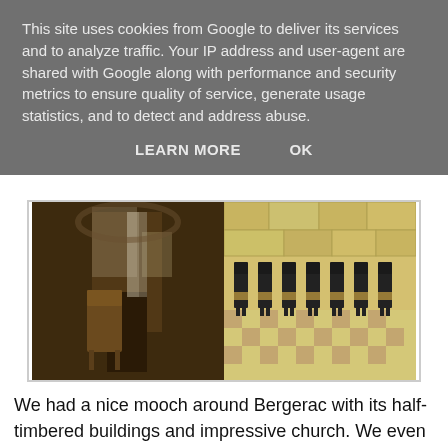This site uses cookies from Google to deliver its services and to analyze traffic. Your IP address and user-agent are shared with Google along with performance and security metrics to ensure quality of service, generate usage statistics, and to detect and address abuse.
LEARN MORE    OK
[Figure (photo): Two side-by-side photos of a church interior: left shows wooden chairs/pews in a dark arched interior, right shows rows of black wooden chairs on a checkered tile floor with stone walls]
We had a nice mooch around Bergerac with its half-timbered buildings and impressive church. We even found Cyrano, lurking in the undergrowth.
[Figure (photo): Two side-by-side outdoor photos: left shows a street view of half-timbered buildings in Bergerac, right shows a person partially obscured by leafy green undergrowth]